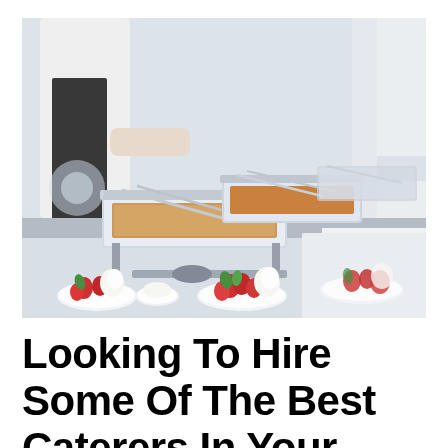[Figure (photo): A catering buffet setup with silver chafing dishes on a long table covered with a white tablecloth. A caterer in a white shirt and black apron is visible on the left. Multiple trays with food are visible, along with serving utensils. In the foreground are plates with strawberries and whipped cream garnishes. The background is softly blurred.]
Looking To Hire Some Of The Best Caterers In Your Area?